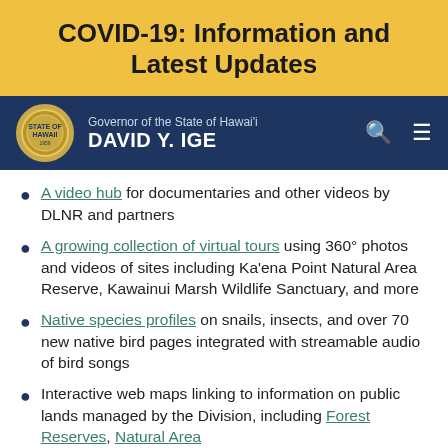COVID-19: Information and Latest Updates
Governor of the State of Hawai'i DAVID Y. IGE
A video hub for documentaries and other videos by DLNR and partners
A growing collection of virtual tours using 360° photos and videos of sites including Ka'ena Point Natural Area Reserve, Kawainui Marsh Wildlife Sanctuary, and more
Native species profiles on snails, insects, and over 70 new native bird pages integrated with streamable audio of bird songs
Interactive web maps linking to information on public lands managed by the Division, including Forest Reserves, Natural Area